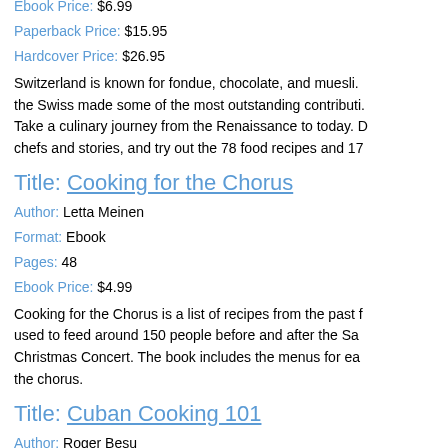Ebook Price: $6.99
Paperback Price: $15.95
Hardcover Price: $26.95
Switzerland is known for fondue, chocolate, and muesli. the Swiss made some of the most outstanding contributi. Take a culinary journey from the Renaissance to today. D chefs and stories, and try out the 78 food recipes and 17
Title: Cooking for the Chorus
Author: Letta Meinen
Format: Ebook
Pages: 48
Ebook Price: $4.99
Cooking for the Chorus is a list of recipes from the past f used to feed around 150 people before and after the Sa Christmas Concert. The book includes the menus for ea the chorus.
Title: Cuban Cooking 101
Author: Roger Besu
Format: Ebook
Pages: 180
Ebook Price: $9.99
A Cuban-American Collection of Family Recipes